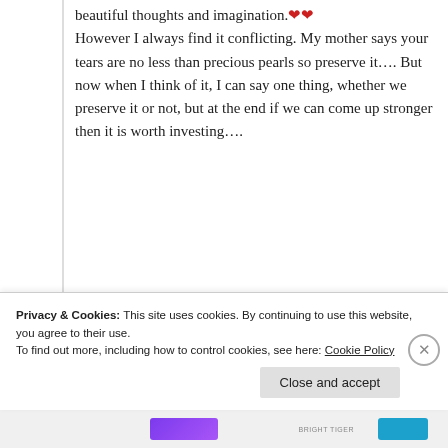beautiful thoughts and imagination.❤️❤️ However I always find it conflicting. My mother says your tears are no less than precious pearls so preserve it…. But now when I think of it, I can say one thing, whether we preserve it or not, but at the end if we can come up stronger then it is worth investing….
★ Liked by 1 person
Log in to Reply
Privacy & Cookies: This site uses cookies. By continuing to use this website, you agree to their use. To find out more, including how to control cookies, see here: Cookie Policy
Close and accept